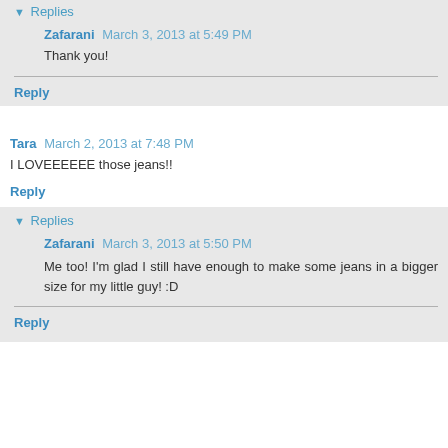Replies
Zafarani  March 3, 2013 at 5:49 PM
Thank you!
Reply
Tara  March 2, 2013 at 7:48 PM
I LOVEEEEEE those jeans!!
Reply
Replies
Zafarani  March 3, 2013 at 5:50 PM
Me too! I'm glad I still have enough to make some jeans in a bigger size for my little guy! :D
Reply